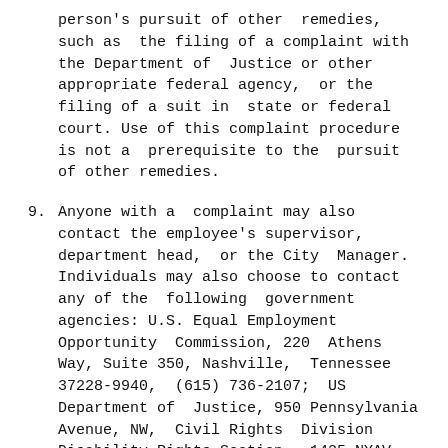person's pursuit of other remedies, such as the filing of a complaint with the Department of Justice or other appropriate federal agency, or the filing of a suit in state or federal court. Use of this complaint procedure is not a prerequisite to the pursuit of other remedies.
9. Anyone with a complaint may also contact the employee's supervisor, department head, or the City Manager. Individuals may also choose to contact any of the following government agencies: U.S. Equal Employment Opportunity Commission, 220 Athens Way, Suite 350, Nashville, Tennessee 37228-9940, (615) 736-2107; US Department of Justice, 950 Pennsylvania Avenue, NW, Civil Rights Division Disability Rights Section – 1425 NYAV, Washington, D.C. 20530, (202) 307-0663 (voice and TTY); or Tennessee Human Rights Commission, 710 James Robertson Parkway, Suite 100, Nashville, Tennessee, 37243-1219